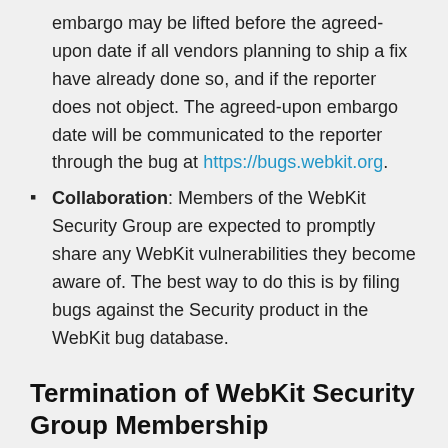embargo may be lifted before the agreed-upon date if all vendors planning to ship a fix have already done so, and if the reporter does not object. The agreed-upon embargo date will be communicated to the reporter through the bug at https://bugs.webkit.org.
Collaboration: Members of the WebKit Security Group are expected to promptly share any WebKit vulnerabilities they become aware of. The best way to do this is by filing bugs against the Security product in the WebKit bug database.
Termination of WebKit Security Group Membership
Members of the WebKit Security Group may